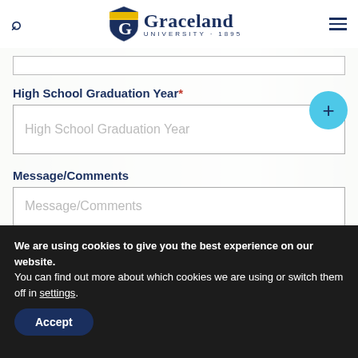Graceland University 1895 - navigation header
[Input field stub - partially visible at top]
High School Graduation Year*
High School Graduation Year (placeholder)
Message/Comments
Message/Comments (placeholder)
We are using cookies to give you the best experience on our website.
You can find out more about which cookies we are using or switch them off in settings.
Accept